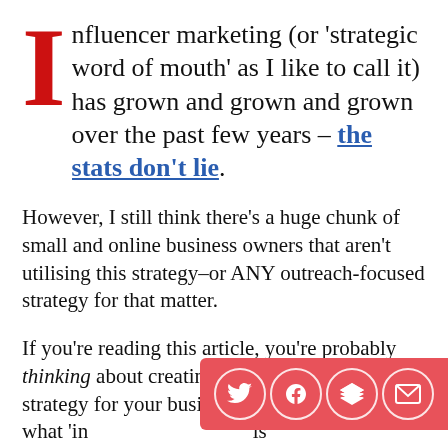Influencer marketing (or 'strategic word of mouth' as I like to call it) has grown and grown and grown over the past few years – the stats don't lie.
However, I still think there's a huge chunk of small and online business owners that aren't utilising this strategy–or ANY outreach-focused strategy for that matter.
If you're reading this article, you're probably thinking about creating an influencer marketing strategy for your business and you're wondering what 'in… is
[Figure (infographic): Social sharing bar with Twitter, Facebook, Layers/Bookmark, and Email icons on a coral/red background]